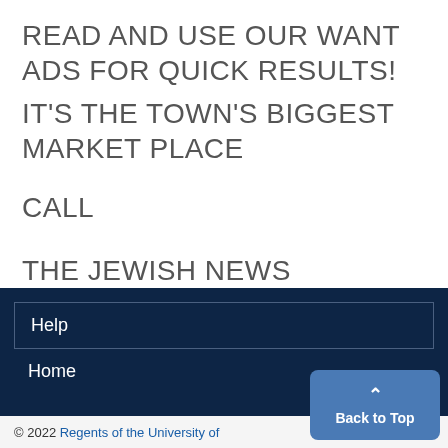READ AND USE OUR WANT ADS FOR QUICK RESULTS!
IT'S THE TOWN'S BIGGEST MARKET PLACE
CALL
THE JEWISH NEWS
Help
Home
© 2022 Regents of the University of
Back to Top